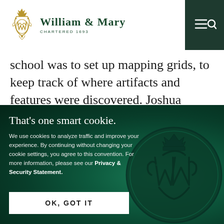William & Mary — Chartered 1693
school was to set up mapping grids, to keep track of where artifacts and features were discovered. Joshua Anish '13 was excited when he learned how to do it
That's one smart cookie.
We use cookies to analyze traffic and improve your experience. By continuing without changing your cookie settings, you agree to this convention. For more information, please see our Privacy & Security Statement.
[Figure (illustration): William & Mary wax seal stamp with royal cypher WM and crown, rendered in dark green tones]
OK, GOT IT